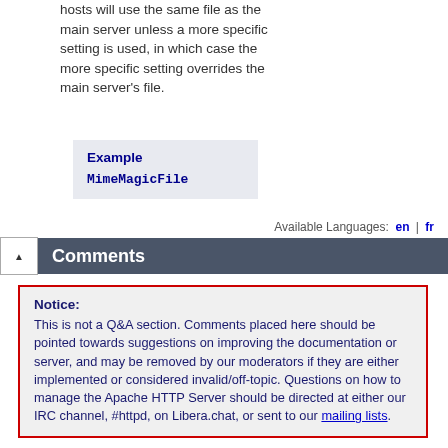hosts will use the same file as the main server unless a more specific setting is used, in which case the more specific setting overrides the main server's file.
Example
MimeMagicFile
Available Languages: en | fr
Comments
Notice:
This is not a Q&A section. Comments placed here should be pointed towards suggestions on improving the documentation or server, and may be removed by our moderators if they are either implemented or considered invalid/off-topic. Questions on how to manage the Apache HTTP Server should be directed at either our IRC channel, #httpd, on Libera.chat, or sent to our mailing lists.